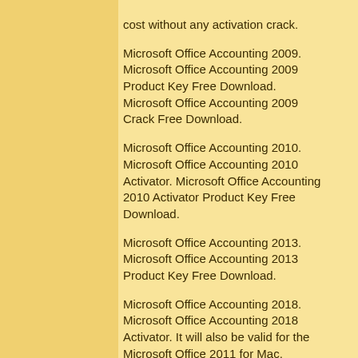cost without any activation crack. Microsoft Office Accounting 2009. Microsoft Office Accounting 2009 Product Key Free Download. Microsoft Office Accounting 2009 Crack Free Download. Microsoft Office Accounting 2010. Microsoft Office Accounting 2010 Activator. Microsoft Office Accounting 2010 Activator Product Key Free Download. Microsoft Office Accounting 2013. Microsoft Office Accounting 2013 Product Key Free Download. Microsoft Office Accounting 2018. Microsoft Office Accounting 2018 Activator. It will also be valid for the Microsoft Office 2011 for Mac, Microsoft Office 2011 for Windows, Microsoft Office 365 Home for Mac, and Microsoft Office 365 Home for Windows. The file size is over 6.04 MB with a total of 73 files.. the software for free at no cost without any activation crack.